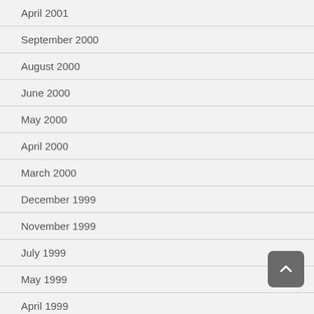April 2001
September 2000
August 2000
June 2000
May 2000
April 2000
March 2000
December 1999
November 1999
July 1999
May 1999
April 1999